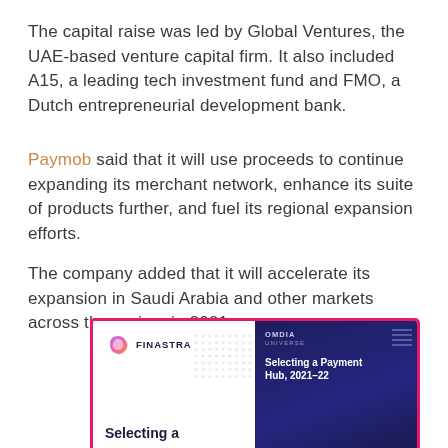The capital raise was led by Global Ventures, the UAE-based venture capital firm. It also included A15, a leading tech investment fund and FMO, a Dutch entrepreneurial development bank.
Paymob said that it will use proceeds to continue expanding its merchant network, enhance its suite of products further, and fuel its regional expansion efforts.
The company added that it will accelerate its expansion in Saudi Arabia and other markets across the region, in 2021.
[Figure (photo): Advertisement or promotional image for Finastra showing a report cover titled 'Selecting a Payment Hub, 2021-22' with OMDIA UNIVERSE branding on a dark navy background, alongside the Finastra logo and partial text 'Selecting a' on a white background. The image has a pink/magenta border.]